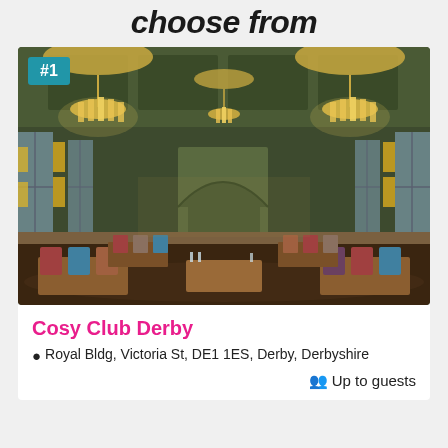choose from
[Figure (photo): Interior of Cosy Club Derby restaurant in the Royal Building – a grand dining hall with chandelier lighting, green walls, coffered ceiling, and wooden tables set for dining. A #1 badge overlays the top-left corner.]
Cosy Club Derby
Royal Bldg, Victoria St, DE1 1ES, Derby, Derbyshire
Up to guests